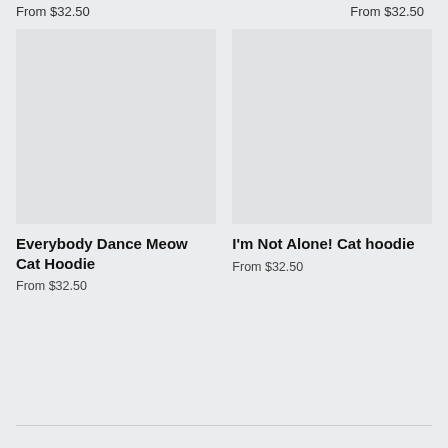From $32.50
From $32.50
[Figure (photo): Product image placeholder for Everybody Dance Meow Cat Hoodie]
Everybody Dance Meow Cat Hoodie
From $32.50
[Figure (photo): Product image placeholder for I'm Not Alone! Cat hoodie]
I'm Not Alone! Cat hoodie
From $32.50